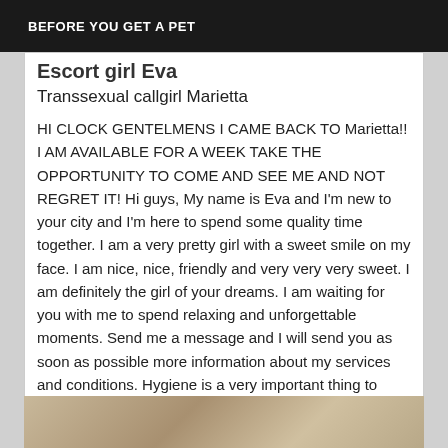BEFORE YOU GET A PET
Escort girl Eva
Transsexual callgirl Marietta
HI CLOCK GENTELMENS I CAME BACK TO Marietta!! I AM AVAILABLE FOR A WEEK TAKE THE OPPORTUNITY TO COME AND SEE ME AND NOT REGRET IT! Hi guys, My name is Eva and I'm new to your city and I'm here to spend some quality time together. I am a very pretty girl with a sweet smile on my face. I am nice, nice, friendly and very very very sweet. I am definitely the girl of your dreams. I am waiting for you with me to spend relaxing and unforgettable moments. Send me a message and I will send you as soon as possible more information about my services and conditions. Hygiene is a very important thing to have a perfect meeting. I send you my love and I look forward to meeting you soon. Many kisses from Eva!
[Figure (photo): Partial photo strip at the bottom of the page, showing a warm-toned image.]